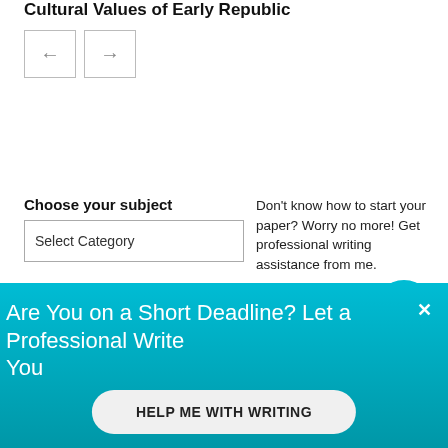Cultural Values of Early Republic
[Figure (screenshot): Navigation buttons with left arrow and right arrow]
Choose your subject
[Figure (screenshot): Select Category dropdown input box]
Search for:
[Figure (screenshot): Search text input box]
Don't know how to start your paper? Worry no more! Get professional writing assistance from me.
Click here
Are You on a Short Deadline? Let a Professional Write Your
HELP ME WITH WRITING